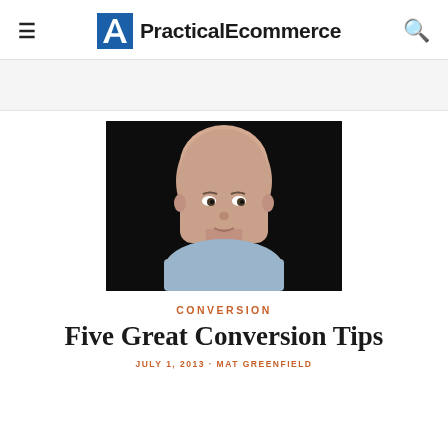PracticalEcommerce
[Figure (photo): Black and white portrait photo of a bald man facing forward, wearing a light blue shirt, against a dark background.]
CONVERSION
Five Great Conversion Tips
JULY 1, 2013 · MAT GREENFIELD